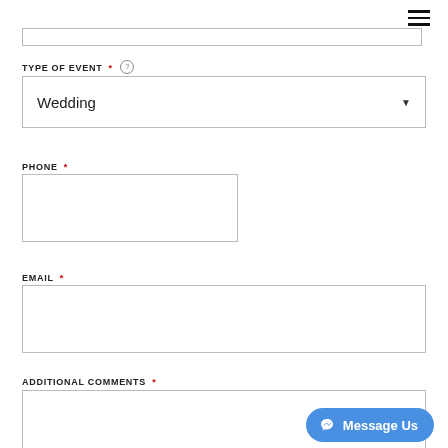TYPE OF EVENT * (?)
Wedding
PHONE *
EMAIL *
ADDITIONAL COMMENTS *
[Figure (screenshot): Blue 'Message Us' button with Messenger icon in bottom right corner]